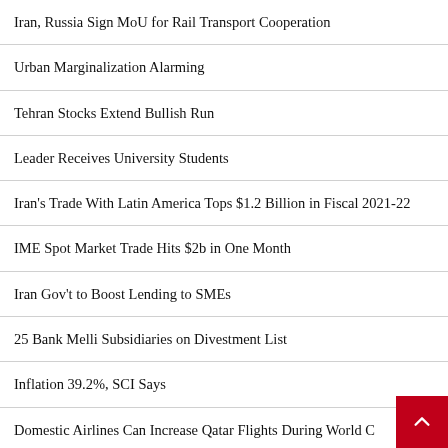Iran, Russia Sign MoU for Rail Transport Cooperation
Urban Marginalization Alarming
Tehran Stocks Extend Bullish Run
Leader Receives University Students
Iran's Trade With Latin America Tops $1.2 Billion in Fiscal 2021-22
IME Spot Market Trade Hits $2b in One Month
Iran Gov't to Boost Lending to SMEs
25 Bank Melli Subsidiaries on Divestment List
Inflation 39.2%, SCI Says
Domestic Airlines Can Increase Qatar Flights During World C